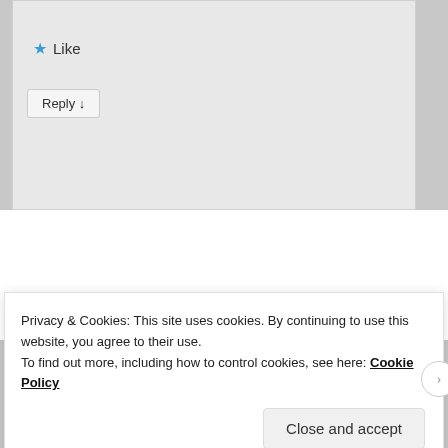Like
Reply ↓
Pingback: Day 10 – The Brain Melter – Carnivore Daily
AUTOMATTIC
Build a better web and a better world.
REPORT THIS AD
Privacy & Cookies: This site uses cookies. By continuing to use this website, you agree to their use.
To find out more, including how to control cookies, see here: Cookie Policy
Close and accept